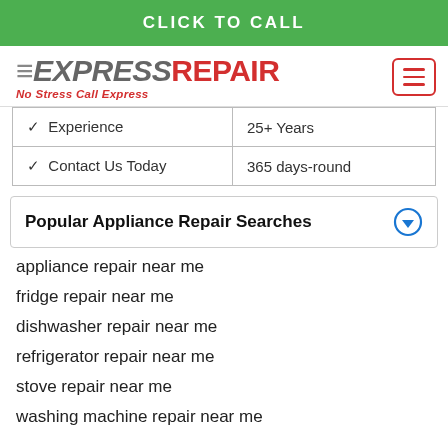CLICK TO CALL
[Figure (logo): Express Repair logo with tagline 'No Stress Call Express']
| ✓  Experience | 25+ Years |
| ✓  Contact Us Today | 365 days-round |
Popular Appliance Repair Searches
appliance repair near me
fridge repair near me
dishwasher repair near me
refrigerator repair near me
stove repair near me
washing machine repair near me